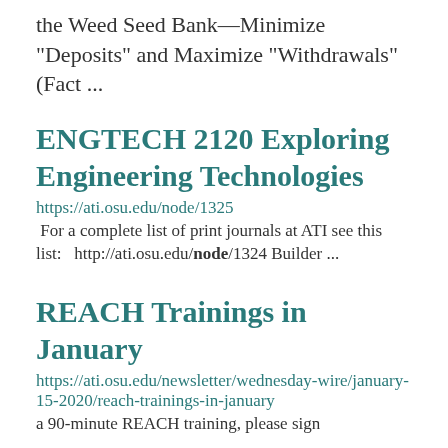the Weed Seed Bank—Minimize "Deposits" and Maximize "Withdrawals" (Fact ...
ENGTECH 2120 Exploring Engineering Technologies
https://ati.osu.edu/node/1325
For a complete list of print journals at ATI see this list:   http://ati.osu.edu/node/1324 Builder ...
REACH Trainings in January
https://ati.osu.edu/newsletter/wednesday-wire/january-15-2020/reach-trainings-in-january
a 90-minute REACH training, please sign